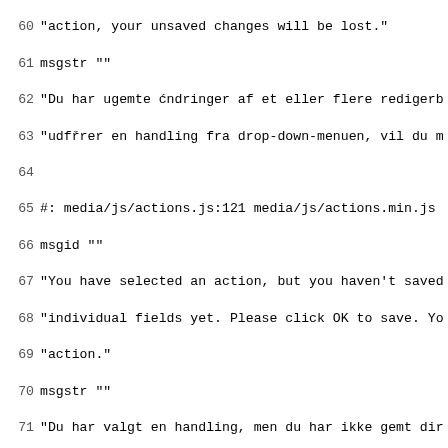Code listing lines 60-90 of a .po translation file
60  "action, your unsaved changes will be lost."
61  msgstr ""
62  "Du har ugemte ćndringer af et eller flere redigerb
63  "udfřrer en handling fra drop-down-menuen, vil du m
64
65  #: media/js/actions.js:121 media/js/actions.min.js
66  msgid ""
67  "You have selected an action, but you haven't saved
68  "individual fields yet. Please click OK to save. Yo
69  "action."
70  msgstr ""
71  "Du har valgt en handling, men du har ikke gemt dir
72  "flere felter. Klik venligst OK for at gemme og vćl
73
74  #: media/js/actions.js:123 media/js/actions.min.js
75  msgid ""
76  "You have selected an action, and you haven't made
77  "fields. You're probably looking for the Go button
78  "button."
79  msgstr ""
80  "Du har valgt en handling, og du har ikke udffrt no
81  "Det, du sřger er formentlig Udfřr-knappen i stedet
82
83  #: media/js/calendar.js:24 media/js/dateparse.js:32
84  msgid ""
85  "January February March April May June July August
86  "December"
87  msgstr ""
88  "Januar Februar Marts April Maj Juni Juli August Se
89  "December"
90